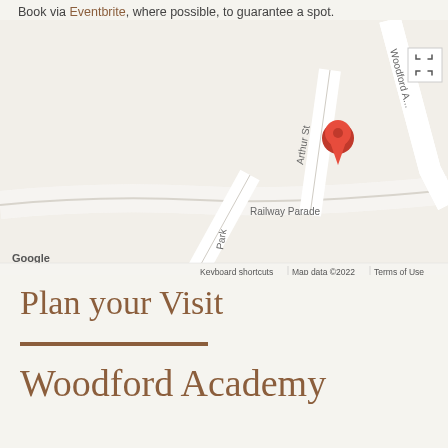Book via Eventbrite, where possible, to guarantee a spot.
[Figure (map): Google Maps screenshot showing Arthur St, Railway Parade, Woodford area with a red location pin marker on Arthur St. Fullscreen button in top right corner.]
Plan your Visit
Woodford Academy